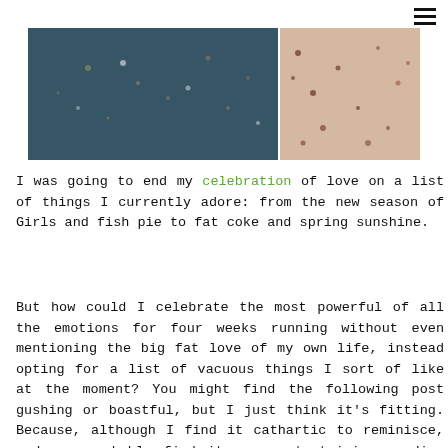[Figure (photo): Two food photos side by side: left shows a dark blue/teal textured surface with scattered particles, right shows a sandy/pink granular texture with dark specks]
I was going to end my celebration of love on a list of things I currently adore: from the new season of Girls and fish pie to fat coke and spring sunshine.
But how could I celebrate the most powerful of all the emotions for four weeks running without even mentioning the big fat love of my own life, instead opting for a list of vacuous things I sort of like at the moment? You might find the following post gushing or boastful, but I just think it's fitting. Because, although I find it cathartic to reminisce, and you probably find it more entertaining reading about my tragic mishaps and bad choices of the past, I think it's important to also be grateful (and honest) about what really ticks my tock (snacks aside) in the here and now.